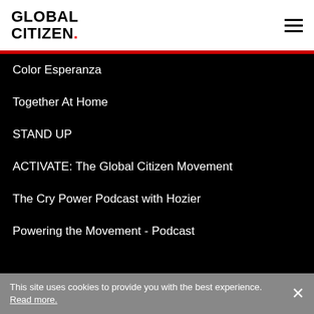GLOBAL CITIZEN.
Color Esperanza
Together At Home
STAND UP
ACTIVATE: The Global Citizen Movement
The Cry Power Podcast with Hozier
Powering the Movement - Podcast
GLOBAL CITIZEN PROGRAMS
Cisco Youth Leadership Award
Global Citizen Prize
This site uses cookies to provide you with the best experience. Read more.